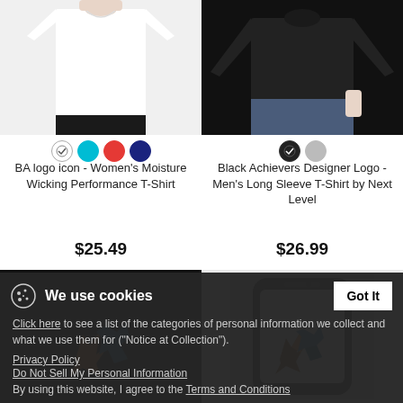[Figure (photo): White women's moisture wicking performance t-shirt product photo, torso view]
[Figure (photo): Black men's long sleeve t-shirt product photo, model wearing it]
BA logo icon - Women's Moisture Wicking Performance T-Shirt
$25.49
Black Achievers Designer Logo - Men's Long Sleeve T-Shirt by Next Level
$26.99
[Figure (photo): Black t-shirt with colorful star/figure logo design]
[Figure (photo): Phone case with colorful star/figure logo design]
We use cookies
Click here to see a list of the categories of personal information we collect and what we use them for ("Notice at Collection").
Privacy Policy
Do Not Sell My Personal Information
By using this website, I agree to the Terms and Conditions
Got It